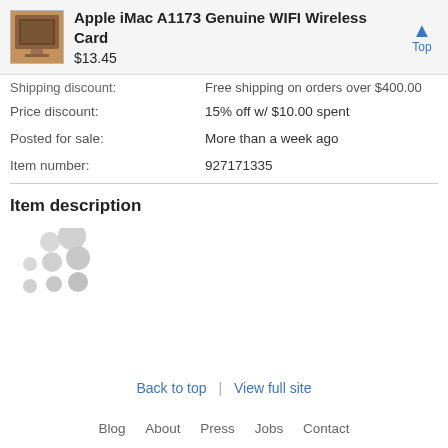Apple iMac A1173 Genuine WIFI Wireless Card $13.45
| Shipping discount: | Free shipping on orders over $400.00 |
| Price discount: | 15% off w/ $10.00 spent |
| Posted for sale: | More than a week ago |
| Item number: | 927171335 |
Item description
[Figure (other): Loading spinner dots animation placeholder]
Back to top | View full site
Blog About Press Jobs Contact